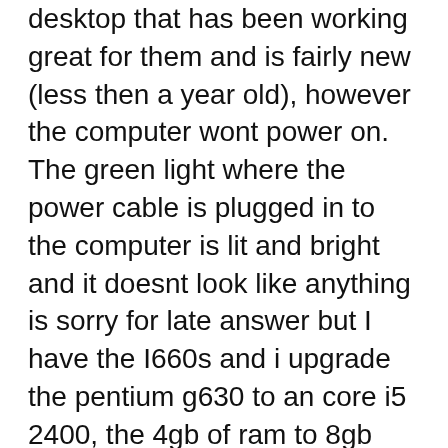desktop that has been working great for them and is fairly new (less then a year old), however the computer wont power on. The green light where the power cable is plugged in to the computer is lit and bright and it doesnt look like anything is sorry for late answer but I have the I660s and i upgrade the pentium g630 to an core i5 2400, the 4gb of ram to 8gb and i install a gt 1030 from gigabyte and i have no issues with the psu. i play many modern games on it and this little baby is a b...
Nov 11, 2014 · Dell Inspiron 660s power issue. The power light on the back is on solid green but the front led next to the on/off switch does not light up. I have